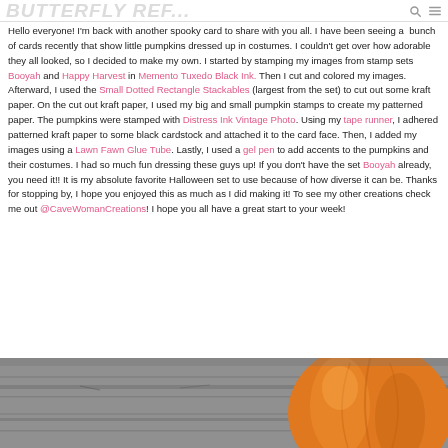BUTTERFLY REF...
Hello everyone! I'm back with another spooky card to share with you all. I have been seeing a bunch of cards recently that show little pumpkins dressed up in costumes. I couldn't get over how adorable they all looked, so I decided to make my own. I started by stamping my images from stamp sets Booyah and Happy Harvest in Memento Tuxedo Black Ink. Then I cut and colored my images. Afterward, I used the Small Dotted Rectangle Stackables (largest from the set) to cut out some kraft paper. On the cut out kraft paper, I used my big and small pumpkin stamps to create my patterned paper. The pumpkins were stamped with Distress Ink Vintage Photo. Using my tape runner, I adhered patterned kraft paper to some black cardstock and attached it to the card face. Then, I added my images using a Lawn Fawn Glue Tube. Lastly, I used a gel pen to add accents to the pumpkins and their costumes. I had so much fun dressing these guys up! If you don't have the set Booyah already, you need it!! It is my absolute favorite Halloween set to use because of how diverse it can be. Thanks for stopping by, I hope you enjoyed this as much as I did making it! To see my other creations check me out @CaveWomanCreations! I hope you all have a great start to your week!
[Figure (photo): Close-up photo of orange pumpkin on grey wooden planks background]